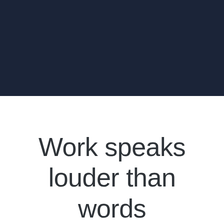[Figure (other): Dark navy blue rectangular block filling the top portion of the page]
Work speaks louder than words